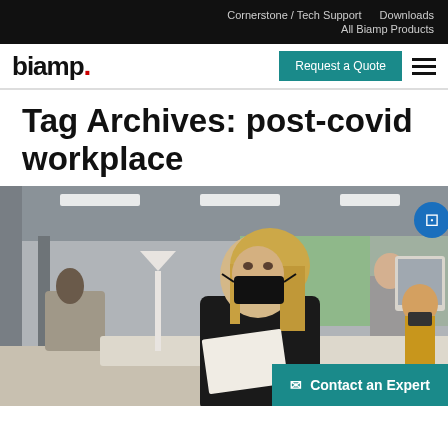Cornerstone / Tech Support   Downloads   All Biamp Products
biamp. | Request a Quote | ≡
Tag Archives: post-covid workplace
[Figure (photo): Office scene with workers wearing black face masks, a woman in foreground with blonde hair and black mask looking down at papers, coworkers in background at desks]
Contact an Expert